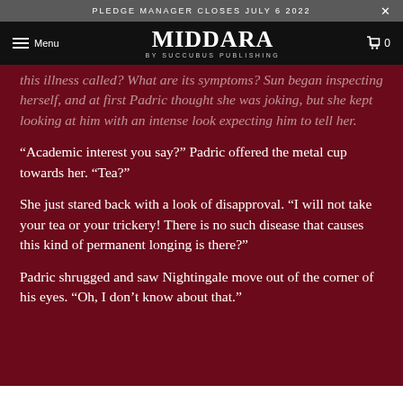PLEDGE MANAGER CLOSES JULY 6 2022
[Figure (logo): Middara by Succubus Publishing logo with menu and cart icons on black navbar]
this illness called? What are its symptoms? Sun began inspecting herself, and at first Padric thought she was joking, but she kept looking at him with an intense look expecting him to tell her.
“Academic interest you say?” Padric offered the metal cup towards her. “Tea?”
She just stared back with a look of disapproval. “I will not take your tea or your trickery! There is no such disease that causes this kind of permanent longing is there?”
Padric shrugged and saw Nightingale move out of the corner of his eyes. “Oh, I don’t know about that.”